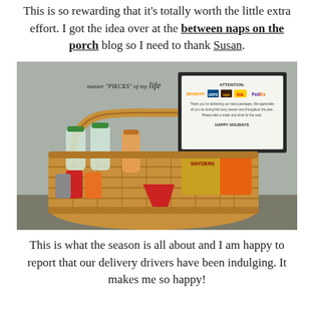This is so rewarding that it's totally worth the little extra effort. I got the idea over at the between naps on the porch blog so I need to thank Susan.
[Figure (photo): A large wicker basket filled with snacks and beverages including water bottles, soda cans, and Snyder's chips, placed on a porch. A sign is propped up behind it reading: ATTENTION: amazon, USPS, UPS, DHL, FedEx - Thank you for delivering our many packages. We appreciate all you do during this busy season and throughout the year. Please take a snack and drink for the road. HAPPY HOLIDAYS. The basket has a watermark reading: master PIECES of my life.]
This is what the season is all about and I am happy to report that our delivery drivers have been indulging. It makes me so happy!